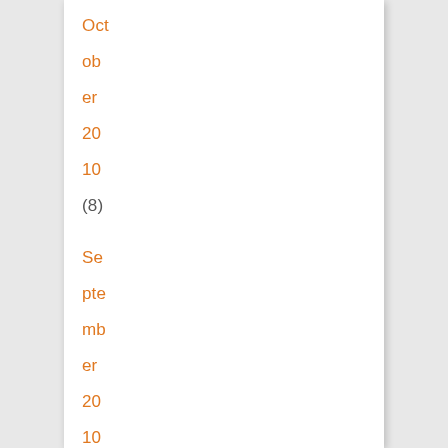Oct
ob
er
20
10
(8)
Se
pte
mb
er
20
10
(5)
Au
gu
st
20
10
(9)